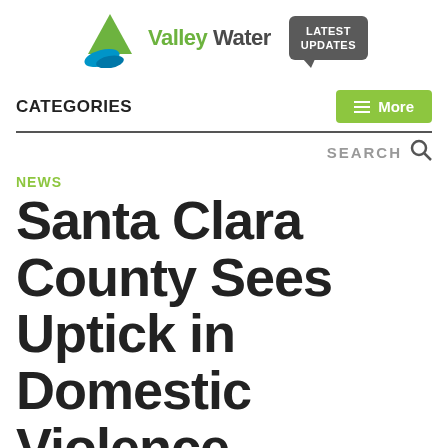[Figure (logo): Valley Water logo with green triangle and blue wave, alongside 'LATEST UPDATES' chat bubble button]
CATEGORIES
SEARCH
NEWS
Santa Clara County Sees Uptick in Domestic Violence